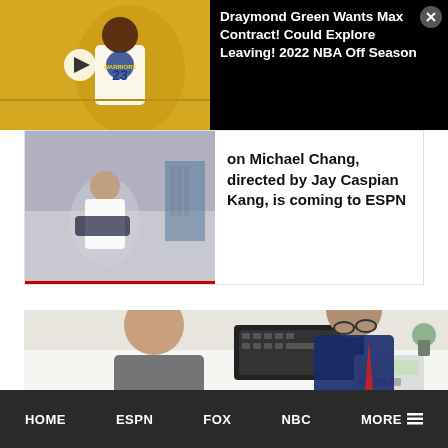Draymond Green Wants Max Contract! Could Explore Leaving! 2022 NBA Off Season
[Figure (screenshot): Basketball player in Golden State Warriors jersey #23 on court]
on Michael Chang, directed by Jay Caspian Kang, is coming to ESPN
[Figure (photo): Two men looking at a calculator on a white desk, one in suit with red tie]
HOME   ESPN   FOX   NBC   MORE